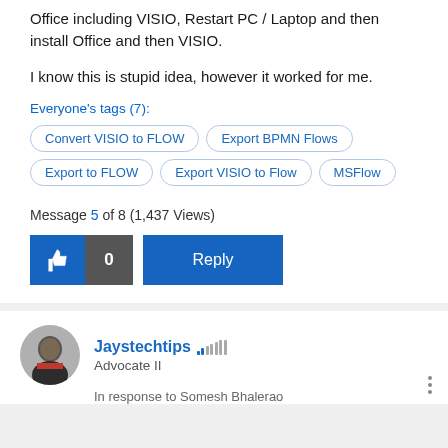Office including VISIO, Restart PC / Laptop and then install Office and then VISIO.
I know this is stupid idea, however it worked for me.
Everyone's tags (7):
Convert VISIO to FLOW
Export BPMN Flows
Export to FLOW
Export VISIO to Flow
MSFlow
Message 5 of 8 (1,437 Views)
[Figure (infographic): Like button with thumbs up icon, count 0, and Reply button]
Jaystechtips
Advocate II
In response to Somesh Bhalerao